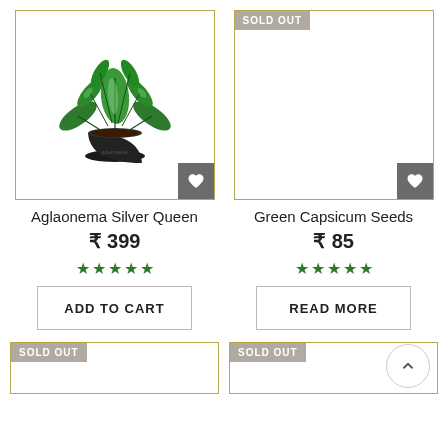[Figure (photo): Aglaonema Silver Queen plant in a black pot]
[Figure (photo): Blank product image with SOLD OUT badge for Green Capsicum Seeds]
Aglaonema Silver Queen
₹ 399
★ ★ ★ ★ ★
ADD TO CART
Green Capsicum Seeds
₹ 85
★ ★ ★ ★ ★
READ MORE
SOLD OUT
SOLD OUT